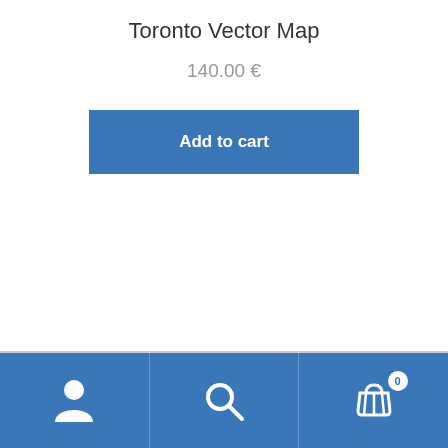Toronto Vector Map
140.00 €
Add to cart
Bottom navigation bar with user icon, search icon, and cart icon with badge 0